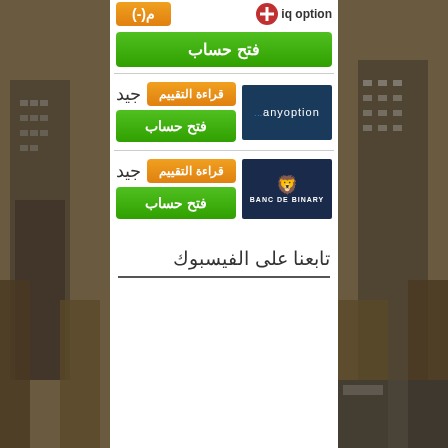[Figure (screenshot): Arabic binary options broker comparison page showing IQ Option, anyoption, and Banc De Binary with orange review buttons and green open account buttons]
قراءة التقييم
فتح حساب
جيد
قراءة التقييم
فتح حساب
جيد
تابعنا على الفيسبوك